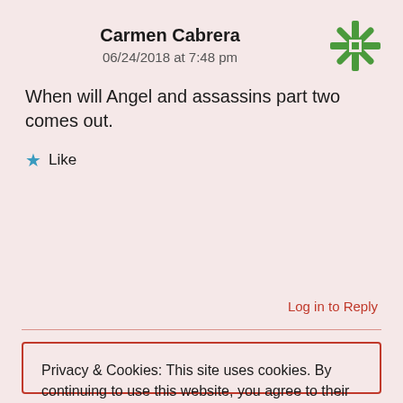Carmen Cabrera
06/24/2018 at 7:48 pm
When will Angel and assassins part two comes out.
★ Like
Log in to Reply
Privacy & Cookies: This site uses cookies. By continuing to use this website, you agree to their use.
To find out more, including how to control cookies, see here:
Cookie Policy
Close and accept